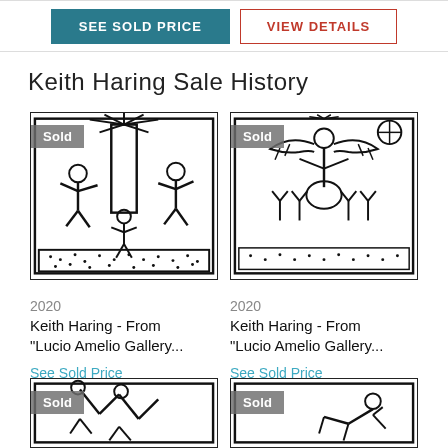[Figure (other): Two buttons: 'SEE SOLD PRICE' (teal filled) and 'VIEW DETAILS' (red outlined)]
Keith Haring Sale History
[Figure (illustration): Keith Haring artwork with 'Sold' badge - black and white drawing with figures and pillar, from Lucio Amelio Gallery]
[Figure (illustration): Keith Haring artwork with 'Sold' badge - black and white drawing with winged figure and hands, from Lucio Amelio Gallery]
2020
Keith Haring - From "Lucio Amelio Gallery...
See Sold Price
2020
Keith Haring - From "Lucio Amelio Gallery...
See Sold Price
[Figure (illustration): Keith Haring artwork with 'Sold' badge - bottom row left]
[Figure (illustration): Keith Haring artwork with 'Sold' badge - bottom row right]